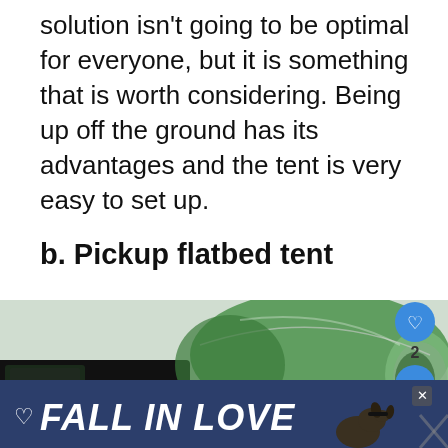solution isn't going to be optimal for everyone, but it is something that is worth considering. Being up off the ground has its advantages and the tent is very easy to set up.
b. Pickup flatbed tent
[Figure (photo): A green tent set up on the flatbed of a black pickup truck (4x4), photographed outdoors. Social media UI elements visible including a heart/like button, share button, and a 'What's Next' preview card showing '7 Different Types of RV...']
[Figure (infographic): Ad banner at the bottom with dark blue background showing 'FALL IN LOVE' text in white italic bold font with a heart outline icon and a dog image, with an X close button.]